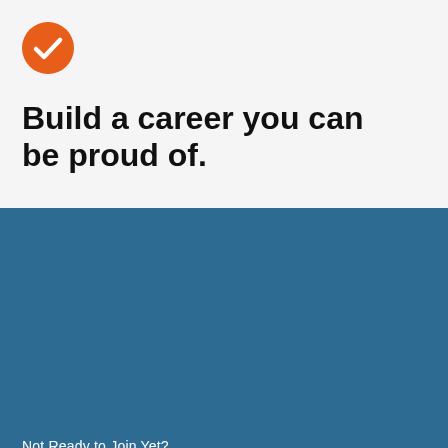[Figure (logo): Orange circle with white checkmark icon]
Build a career you can be proud of.
Not Ready to Join Yet?
Join Our Mailing List
Enter Your Email
Sign Up Now